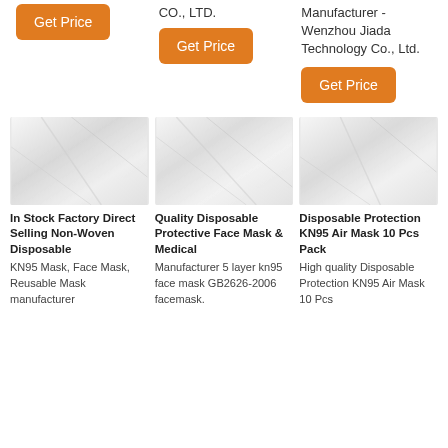CO., LTD.
[Figure (other): Orange Get Price button (column 1)]
CO., LTD.
[Figure (other): Orange Get Price button (column 2)]
Manufacturer - Wenzhou Jiada Technology Co., Ltd.
[Figure (other): Orange Get Price button (column 3)]
[Figure (photo): White non-woven fabric material close-up - product 1]
[Figure (photo): White non-woven fabric material close-up - product 2]
[Figure (photo): White non-woven fabric material close-up - product 3]
In Stock Factory Direct Selling Non-Woven Disposable
KN95 Mask, Face Mask, Reusable Mask manufacturer
Quality Disposable Protective Face Mask & Medical
Manufacturer 5 layer kn95 face mask GB2626-2006 facemask.
Disposable Protection KN95 Air Mask 10 Pcs Pack
High quality Disposable Protection KN95 Air Mask 10 Pcs